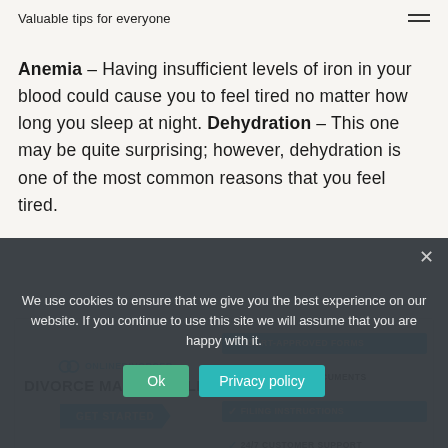Valuable tips for everyone
Anemia – Having insufficient levels of iron in your blood could cause you to feel tired no matter how long you sleep at night. Dehydration – This one may be quite surprising; however, dehydration is one of the most common reasons that you feel tired.
[Figure (infographic): Online Divorcer advertisement banner: 'DIVORCE MADE SIMPLE' with GET STARTED button and features: Court-Approved Forms, $139 For All Documents, Filing Instructions, 24/7 Customer Support]
We use cookies to ensure that we give you the best experience on our website. If you continue to use this site we will assume that you are happy with it.